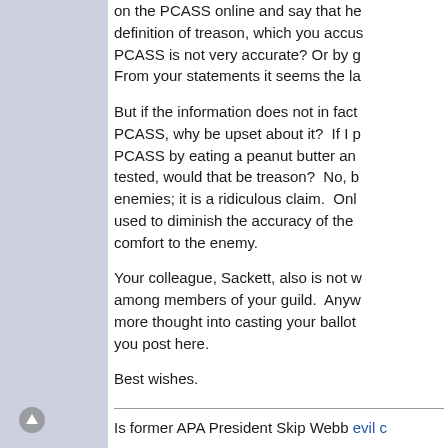on the PCASS online and say that he definition of treason, which you accus PCASS is not very accurate? Or by g From your statements it seems the la
But if the information does not in fact PCASS, why be upset about it?  If I p PCASS by eating a peanut butter an tested, would that be treason?  No, b enemies; it is a ridiculous claim.  Onl used to diminish the accuracy of the comfort to the enemy.
Your colleague, Sackett, also is not w among members of your guild.  Anyw more thought into casting your ballot you post here.
Best wishes.
Is former APA President Skip Webb evil c
Is former APA President Ed Gelb an idiot
Did you know that polygrapher Sackett de questions?